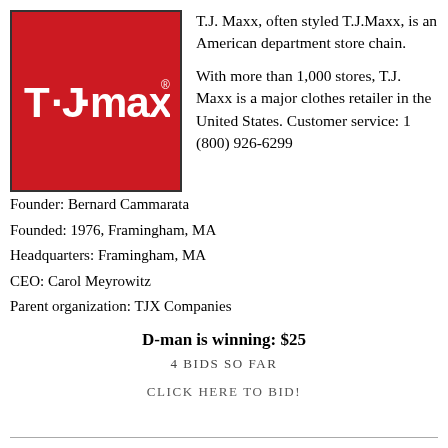[Figure (logo): T.J. Maxx logo: white stylized text on red background inside a bordered box]
T.J. Maxx, often styled T.J.Maxx, is an American department store chain.

With more than 1,000 stores, T.J. Maxx is a major clothes retailer in the United States. Customer service: 1 (800) 926-6299
Founder: Bernard Cammarata
Founded: 1976, Framingham, MA
Headquarters: Framingham, MA
CEO: Carol Meyrowitz
Parent organization: TJX Companies
D-man is winning: $25
4 BIDS SO FAR
CLICK HERE TO BID!